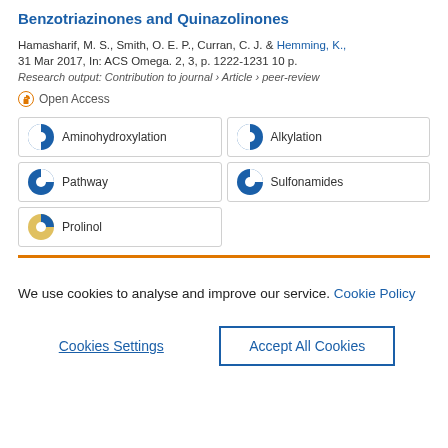Benzotriazinones and Quinazolinones
Hamasharif, M. S., Smith, O. E. P., Curran, C. J. & Hemming, K., 31 Mar 2017, In: ACS Omega. 2, 3, p. 1222-1231 10 p.
Research output: Contribution to journal › Article › peer-review
Open Access
Aminohydroxylation
Alkylation
Pathway
Sulfonamides
Prolinol
We use cookies to analyse and improve our service. Cookie Policy
Cookies Settings
Accept All Cookies